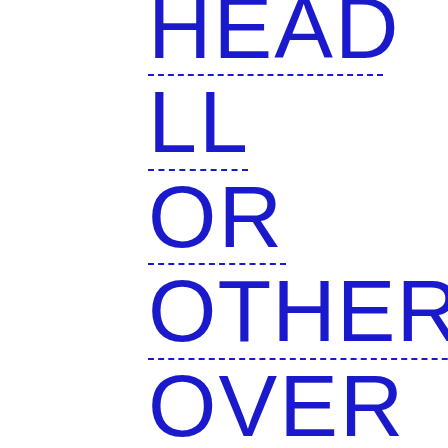HEAD (partial, top cut off)
LL
OR
OTHER
OVER
POKER
READING (partial, bottom cut off)